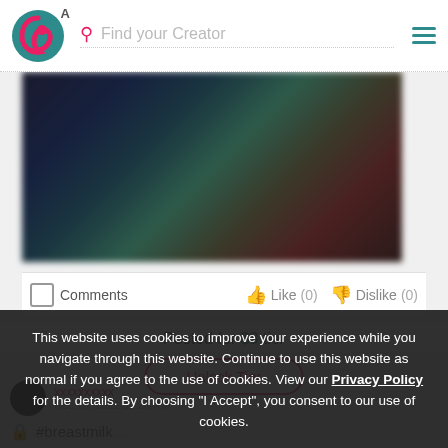A  Find your Creator
[Figure (photo): Blurred dark image content]
Comments   Like (0)   Dislike (0)
Posted for $3 tier
Unlock Tier
Dec 18, 2021 09:28 PM
#breastmilk
This website uses cookies to improve your experience while you navigate through this website. Continue to use this website as normal if you agree to the use of cookies. View our Privacy Policy for the details. By choosing "I Accept", you consent to our use of cookies.
I Accept